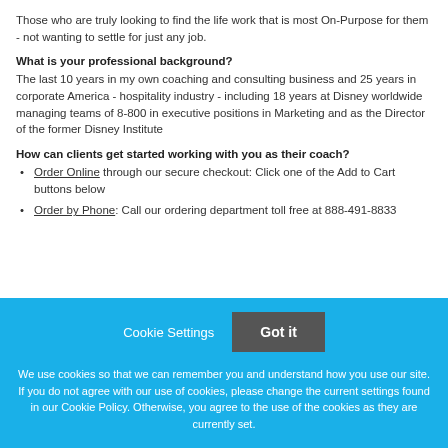Those who are truly looking to find the life work that is most On-Purpose for them - not wanting to settle for just any job.
What is your professional background?
The last 10 years in my own coaching and consulting business and 25 years in corporate America - hospitality industry - including 18 years at Disney worldwide managing teams of 8-800 in executive positions in Marketing and as the Director of the former Disney Institute
How can clients get started working with you as their coach?
Order Online through our secure checkout: Click one of the Add to Cart buttons below
Order by Phone: Call our ordering department toll free at 888-491-8833
Cookie Settings  Got it
We use cookies so that we can remember you and understand how you use our site. If you do not agree with our use of cookies, please change the current settings found in our Cookie Policy. Otherwise, you agree to the use of the cookies as they are currently set.